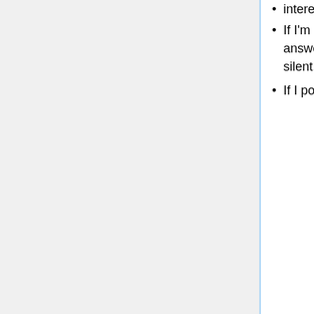interesting dialogues, that's very early in the process.
If I'm in a Twitter dialog and someone asks me a question that requires a longer answer, I'd rather shift to a more accommodating platform than oversimplify or fall silent.
If I point to this page from one of my tweets, here's what I'm proposing:
Send me an email with your full question or objection. I'll reply by email.
Post your full question or objection to Google+ and I'll reply. Or if you'd like, I could start the thread on my own G+ account and you could reply.
The advantage over email is